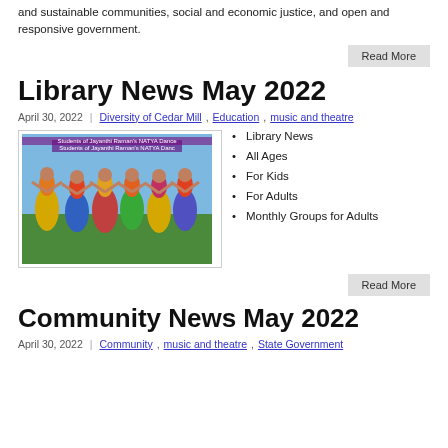and sustainable communities, social and economic justice, and open and responsive government.
Read More
Library News May 2022
April 30, 2022 | Diversity of Cedar Mill, Education, music and theatre
[Figure (photo): Students of Jayanthi Raman's NATYA Dance group performing Indian classical dance, wearing colorful costumes]
Library News
All Ages
For Kids
For Adults
Monthly Groups for Adults
Read More
Community News May 2022
April 30, 2022 | Community, music and theatre, State Government